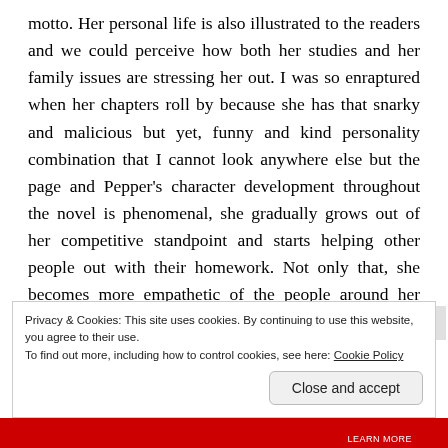motto. Her personal life is also illustrated to the readers and we could perceive how both her studies and her family issues are stressing her out. I was so enraptured when her chapters roll by because she has that snarky and malicious but yet, funny and kind personality combination that I cannot look anywhere else but the page and Pepper's character development throughout the novel is phenomenal, she gradually grows out of her competitive standpoint and starts helping other people out with their homework. Not only that, she becomes more empathetic of the people around her which ultimately, makes her a better person.
Privacy & Cookies: This site uses cookies. By continuing to use this website, you agree to their use.
To find out more, including how to control cookies, see here: Cookie Policy
Close and accept